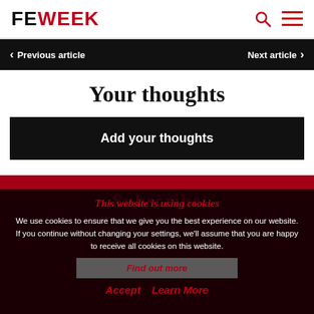FE WEEK
Previous article   Next article
Your thoughts
Add your thoughts
Subscribe
This website is using cookies
We use cookies to ensure that we give you the best experience on our website. If you continue without changing your settings, we'll assume that you are happy to receive all cookies on this website.
Find out more
Accept   Learn More